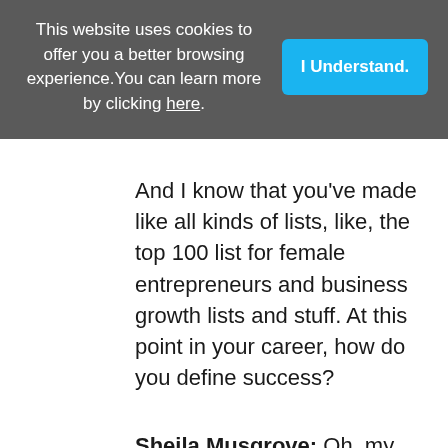This website uses cookies to offer you a better browsing experience. You can learn more by clicking here.
I Understand.
And I know that you've made like all kinds of lists, like, the top 100 list for female entrepreneurs and business growth lists and stuff. At this point in your career, how do you define success?
Sheila Musgrove: Oh, my goodness. That's a great question, Mike. It's just continuing to build. I mean, writing the book was a big must, do for me. So, it's